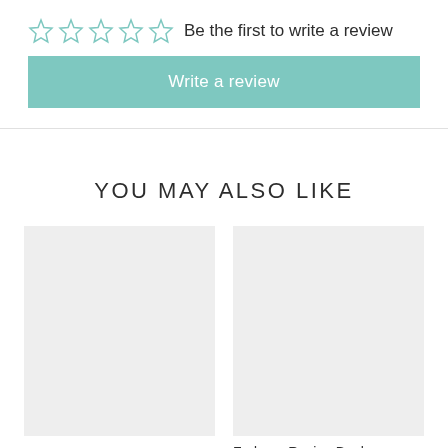Be the first to write a review
Write a review
YOU MAY ALSO LIKE
[Figure (other): Empty grey product image placeholder (left)]
[Figure (other): Empty grey product image placeholder (right)]
Fodmap Recipe Book